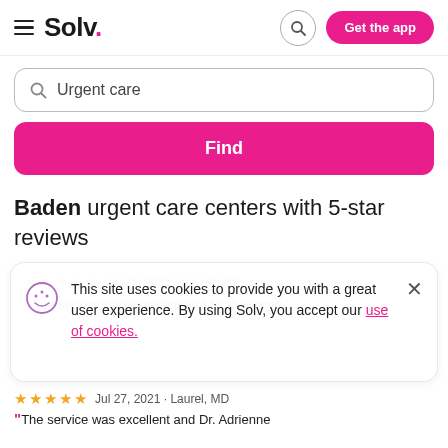Solv. — Get the app
Urgent care
Find
Baden urgent care centers with 5-star reviews
This site uses cookies to provide you with a great user experience. By using Solv, you accept our use of cookies.
★★★★★  Jul 27, 2021 · Laurel, MD
"The service was excellent and Dr. Adrienne